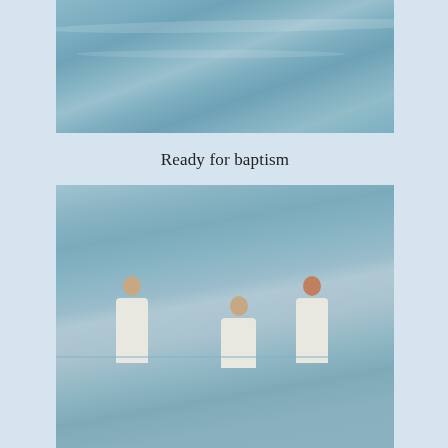[Figure (photo): Photo of water/ocean surface with ripples, partially cropped at top]
Ready for baptism
[Figure (photo): Photo of three people dressed in white standing in water during a baptism ceremony]